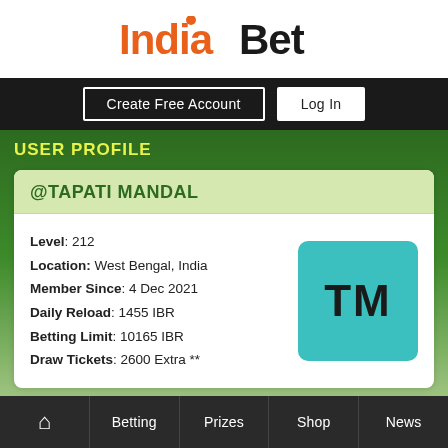[Figure (logo): IndiaBet logo — 'India' in orange and 'Bet' in dark/black text with a small orange dot above the 'i']
Create Free Account | Log In
USER PROFILE
@TAPATI MANDAL
Level: 212
Location: West Bengal, India
Member Since: 4 Dec 2021
Daily Reload: 1455 IBR
Betting Limit: 10165 IBR
Draw Tickets: 2600 Extra **
[Figure (illustration): Teal/cyan square avatar with initials TM in dark text]
Sports Betting   ROI 6.54%
Home  Betting  Prizes  Shop  News